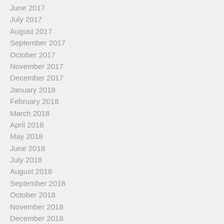June 2017
July 2017
August 2017
September 2017
October 2017
November 2017
December 2017
January 2018
February 2018
March 2018
April 2018
May 2018
June 2018
July 2018
August 2018
September 2018
October 2018
November 2018
December 2018
January 2019
February 2019
March 2019
April 2019
May 2019
June 2019
July 2019
August 2019
September 2019